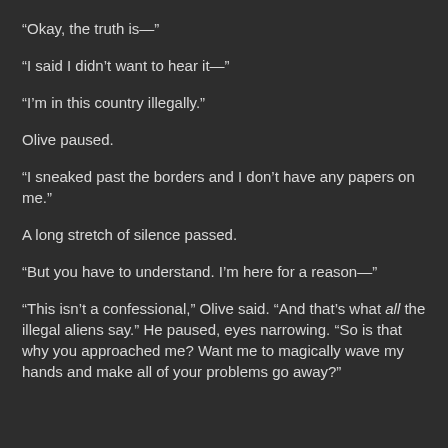“Okay, the truth is—”
“I said I didn’t want to hear it—”
“I’m in this country illegally.”
Olive paused.
“I sneaked past the borders and I don’t have any papers on me.”
A long stretch of silence passed.
“But you have to understand. I’m here for a reason—”
“This isn’t a confessional,” Olive said. “And that’s what all the illegal aliens say.” He paused, eyes narrowing. “So is that why you approached me? Want me to magically wave my hands and make all of your problems go away?”